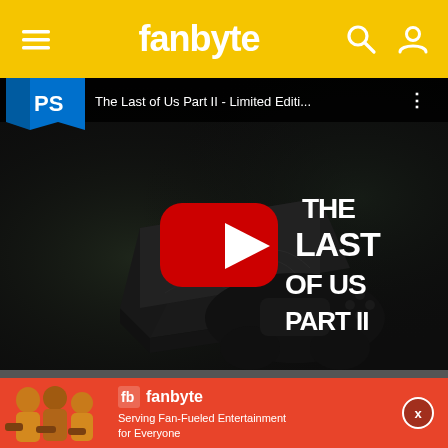fanbyte
[Figure (screenshot): YouTube video thumbnail: The Last of Us Part II - Limited Edition PS4 Pro console reveal. Black PS4 Pro console with fern/leaf engravings, DualShock 4 controller, dark atmospheric background, game logo on right side. YouTube play button in center. PlayStation channel bar at top showing 'The Last of Us Part II - Limited Editi...']
[Figure (other): Fanbyte advertisement banner: red background with people playing games on left, fanbyte logo and tagline 'Serving Fan-Fueled Entertainment for Everyone' on right, close button (x) on far right.]